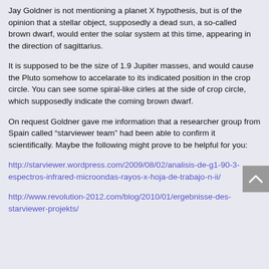Jay Goldner is not mentioning a planet X hypothesis, but is of the opinion that a stellar object, supposedly a dead sun, a so-called brown dwarf, would enter the solar system at this time, appearing in the direction of sagittarius.
It is supposed to be the size of 1.9 Jupiter masses, and would cause the Pluto somehow to accelarate to its indicated position in the crop circle. You can see some spiral-like cirles at the side of crop circle, which supposedly indicate the coming brown dwarf.
On request Goldner gave me information that a researcher group from Spain called “starviewer team” had been able to confirm it scientifically. Maybe the following might prove to be helpful for you:
http://starviewer.wordpress.com/2009/08/02/analisis-de-g1-90-3-espectros-infrared-microondas-rayos-x-hoja-de-trabajo-n-ii/
http://www.revolution-2012.com/blog/2010/01/ergebnisse-des-starviewer-projekts/